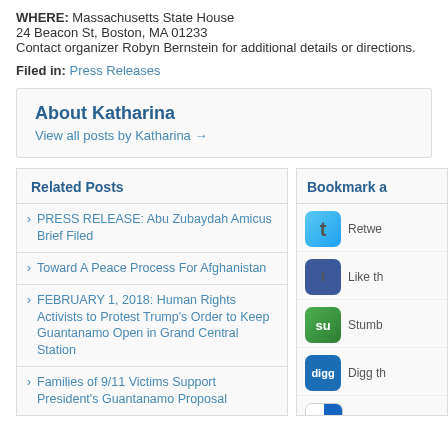WHERE: Massachusetts State House
24 Beacon St, Boston, MA 01233
Contact organizer Robyn Bernstein for additional details or directions.
Filed in: Press Releases
About Katharina
View all posts by Katharina →
Related Posts
PRESS RELEASE: Abu Zubaydah Amicus Brief Filed
Toward A Peace Process For Afghanistan
FEBRUARY 1, 2018: Human Rights Activists to Protest Trump's Order to Keep Guantanamo Open in Grand Central Station
Families of 9/11 Victims Support President's Guantanamo Proposal
Peaceful Tomorrow's Statement on the Death of Muammar El-Qaddafi
Home Peaceful Tomorrows Reflects on 10th
Bookmark a
Retwe...
Like th...
Stumb...
Digg th...
Bookm...